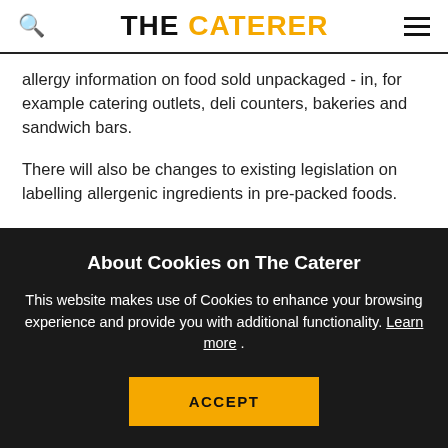THE CATERER
allergy information on food sold unpackaged - in, for example catering outlets, deli counters, bakeries and sandwich bars.
There will also be changes to existing legislation on labelling allergenic ingredients in pre-packed foods.
FSDG, a strategic group within supply chain standards organisation GS1 UK, will drive the campaign for a
About Cookies on The Caterer
This website makes use of Cookies to enhance your browsing experience and provide you with additional functionality. Learn more .
ACCEPT